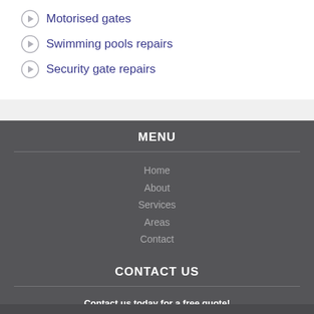Motorised gates
Swimming pools repairs
Security gate repairs
MENU
Home
About
Services
Areas
Contact
CONTACT US
Contact us today for a free quote! Please use our contact form to send us your enquiry. Alternatively you can also contact us directly:
Telephone: 010 880 2783 / 010 880 2784